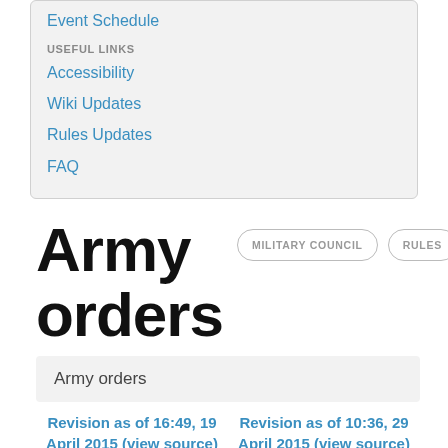Event Schedule
USEFUL LINKS
Accessibility
Wiki Updates
Rules Updates
FAQ
Army orders
Army orders
Revision as of 16:49, 19 April 2015 (view source)
Matt (talk | contribs)
← Older edit
Revision as of 10:36, 29 April 2015 (view source)
Matt (talk | contribs)
Newer edit →